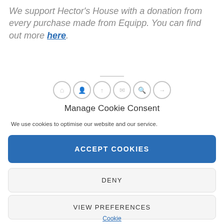We support Hector's House with a donation from every purchase made from Equipp. You can find out more here.
[Figure (illustration): Row of six circular social media / sharing icon buttons with light grey borders on white background]
Manage Cookie Consent
We use cookies to optimise our website and our service.
ACCEPT COOKIES
DENY
VIEW PREFERENCES
Cookie